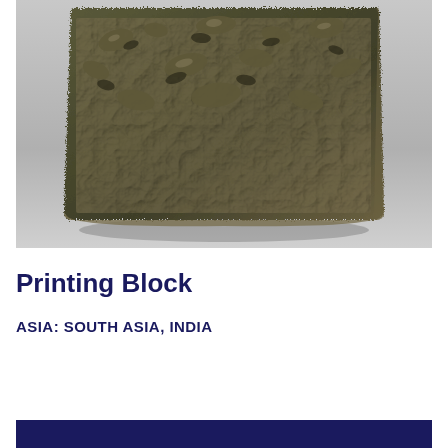[Figure (photo): Close-up photograph of an ancient printing block from South Asia, India. The block appears to be made of dark metal or carved stone with raised relief patterns on its surface, showing intricate textures and designs. The object is photographed against a light gray background.]
Printing Block
ASIA: SOUTH ASIA, INDIA